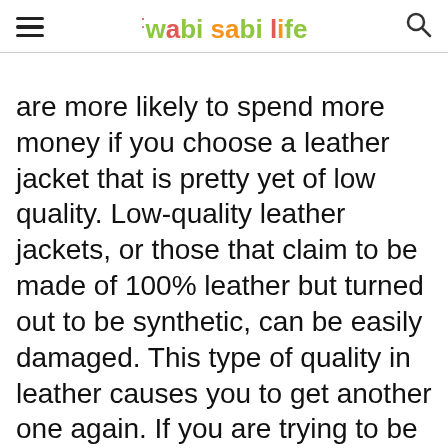wabi sabi life
are more likely to spend more money if you choose a leather jacket that is pretty yet of low quality. Low-quality leather jackets, or those that claim to be made of 100% leather but turned out to be synthetic, can be easily damaged. This type of quality in leather causes you to get another one again. If you are trying to be shopping-wise, get an authentic